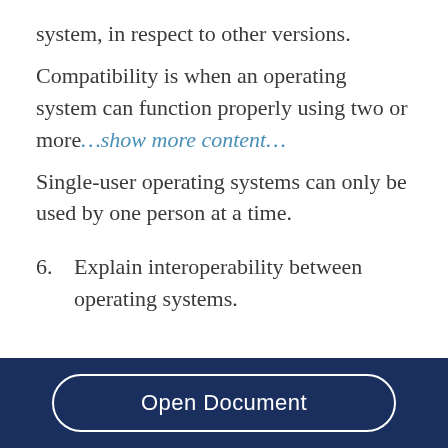system, in respect to other versions.
Compatibility is when an operating system can function properly using two or more…show more content…
Single-user operating systems can only be used by one person at a time.
6.    Explain interoperability between operating systems.
Open Document